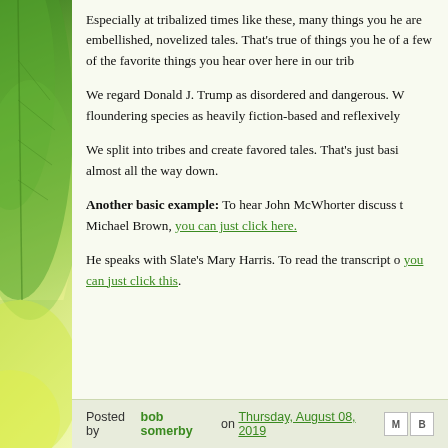Especially at tribalized times like these, many things you hear are embellished, novelized tales. That's true of things you hear of a few of the favorite things you hear over here in our trib
We regard Donald J. Trump as disordered and dangerous. W floundering species as heavily fiction-based and reflexively
We split into tribes and create favored tales. That's just basi almost all the way down.
Another basic example: To hear John McWhorter discuss Michael Brown, you can just click here.
He speaks with Slate's Mary Harris. To read the transcript o you can just click this.
Posted by bob somerby on Thursday, August 08, 2019